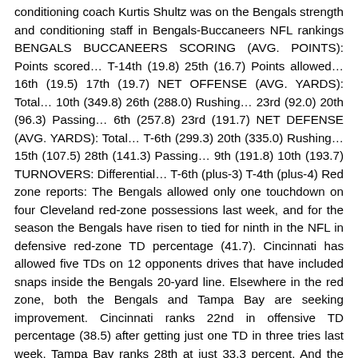conditioning coach Kurtis Shultz was on the Bengals strength and conditioning staff in Bengals-Buccaneers NFL rankings BENGALS BUCCANEERS SCORING (AVG. POINTS): Points scored… T-14th (19.8) 25th (16.7) Points allowed… 16th (19.5) 17th (19.7) NET OFFENSE (AVG. YARDS): Total… 10th (349.8) 26th (288.0) Rushing… 23rd (92.0) 20th (96.3) Passing… 6th (257.8) 23rd (191.7) NET DEFENSE (AVG. YARDS): Total… T-6th (299.3) 20th (335.0) Rushing… 15th (107.5) 28th (141.3) Passing… 9th (191.8) 10th (193.7) TURNOVERS: Differential… T-6th (plus-3) T-4th (plus-4) Red zone reports: The Bengals allowed only one touchdown on four Cleveland red-zone possessions last week, and for the season the Bengals have risen to tied for ninth in the NFL in defensive red-zone TD percentage (41.7). Cincinnati has allowed five TDs on 12 opponents drives that have included snaps inside the Bengals 20-yard line. Elsewhere in the red zone, both the Bengals and Tampa Bay are seeking improvement. Cincinnati ranks 22nd in offensive TD percentage (38.5) after getting just one TD in three tries last week. Tampa Bay ranks 28th at just 33.3 percent. And the Bucs on defense rank tied for 18th (50.0). Bengals red-zone report OFFENSE DEFENSE Inside-20 poss.: 13 Inside-20 poss.: 12 Total scores: 12